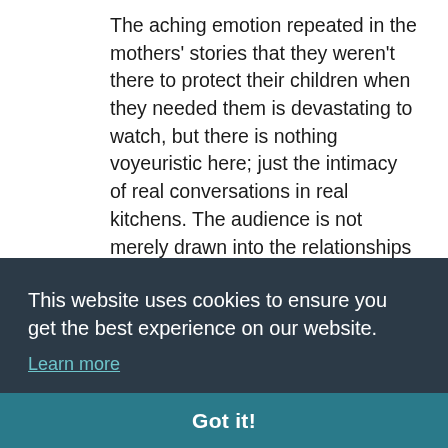The aching emotion repeated in the mothers' stories that they weren't there to protect their children when they needed them is devastating to watch, but there is nothing voyeuristic here; just the intimacy of real conversations in real kitchens. The audience is not merely drawn into the relationships with their family members in the forces, but their family lives as a whole. A 60 year old woman refers to her autocratic 89 year old
This website uses cookies to ensure you get the best experience on our website.
Learn more
Got it!
women have in common with each other, but